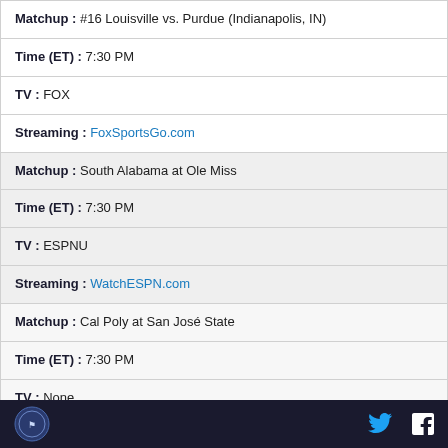| Matchup : #16 Louisville vs. Purdue (Indianapolis, IN) |
| Time (ET) : 7:30 PM |
| TV : FOX |
| Streaming : FoxSportsGo.com |
| Matchup : South Alabama at Ole Miss |
| Time (ET) : 7:30 PM |
| TV : ESPNU |
| Streaming : WatchESPN.com |
| Matchup : Cal Poly at San José State |
| Time (ET) : 7:30 PM |
| TV : None |
Logo | Twitter | Facebook